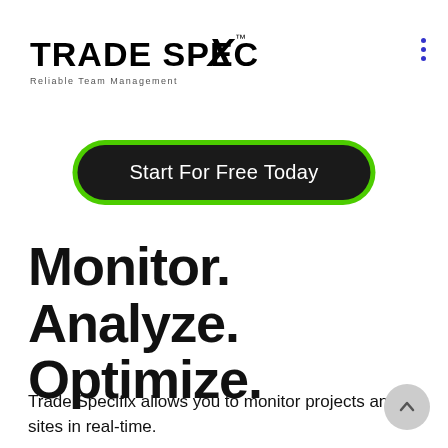[Figure (logo): Trade Specifix logo with stylized X and tagline 'Reliable Team Management']
Start For Free Today
Monitor. Analyze. Optimize.
Trade Specifix allows you to monitor projects and sites in real-time.
Real-time worker data
Real-time project updates